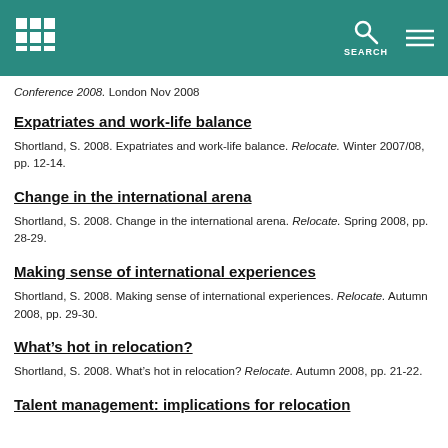Header with logo and search
Conference 2008. London Nov 2008
Expatriates and work-life balance
Shortland, S. 2008. Expatriates and work-life balance. Relocate. Winter 2007/08, pp. 12-14.
Change in the international arena
Shortland, S. 2008. Change in the international arena. Relocate. Spring 2008, pp. 28-29.
Making sense of international experiences
Shortland, S. 2008. Making sense of international experiences. Relocate. Autumn 2008, pp. 29-30.
What’s hot in relocation?
Shortland, S. 2008. What’s hot in relocation? Relocate. Autumn 2008, pp. 21-22.
Talent management: implications for relocation